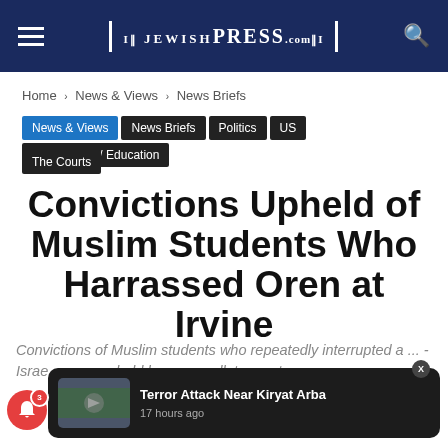THE JEWISH PRESS .com
Home › News & Views › News Briefs
News & Views | News Briefs | Politics | US | On Campus / Education | The Courts
Convictions Upheld of Muslim Students Who Harrassed Oren at Irvine
Convictions of Muslim students who repeatedly interrupted a ... -Israel ... were upheld by an appellate court.
[Figure (screenshot): Notification popup showing 'Terror Attack Near Kiryat Arba' with a thumbnail image and '17 hours ago']